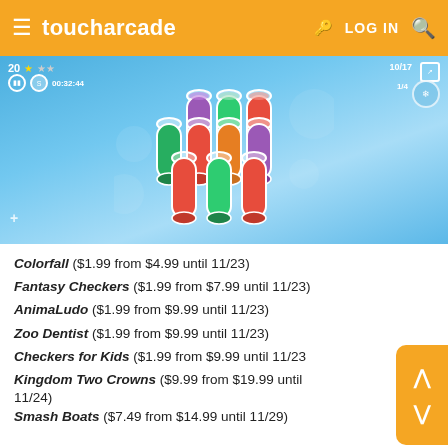toucharcade  LOG IN
[Figure (screenshot): Screenshot of a colorful mobile game showing test tubes filled with colored liquids (red, green, purple, orange) arranged in a triangular pattern on a light blue background. Game UI shows score 20, stars, timer 00:32:44, and level 10/17.]
Colorfall ($1.99 from $4.99 until 11/23)
Fantasy Checkers ($1.99 from $7.99 until 11/23)
AnimaLudo ($1.99 from $9.99 until 11/23)
Zoo Dentist ($1.99 from $9.99 until 11/23)
Checkers for Kids ($1.99 from $9.99 until 11/23)
Kingdom Two Crowns ($9.99 from $19.99 until 11/24)
Smash Boats ($7.49 from $14.99 until 11/29)